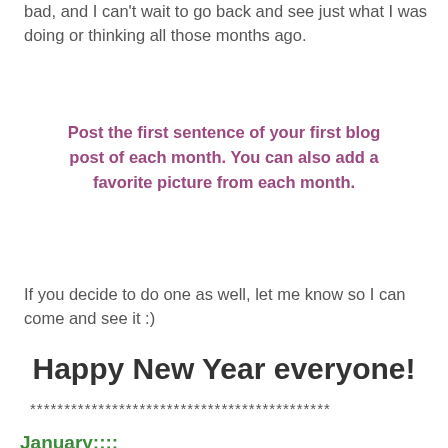bad, and I can't wait to go back and see just what I was doing or thinking all those months ago.
Post the first sentence of your first blog post of each month. You can also add a favorite picture from each month.
If you decide to do one as well, let me know so I can come and see it :)
Happy New Year everyone!
********************************************
January::::
The first day of the year.
The blank slate.